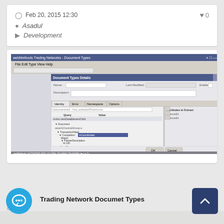Feb 20, 2015 12:30
Asadul
Development
[Figure (screenshot): Screenshot of webMethods Trading Networks Document Types Details window in a web browser, showing a document type configuration interface with a tree of XML elements including TransactionCount, TotalAmount, and other fields.]
Trading Network Documet Types